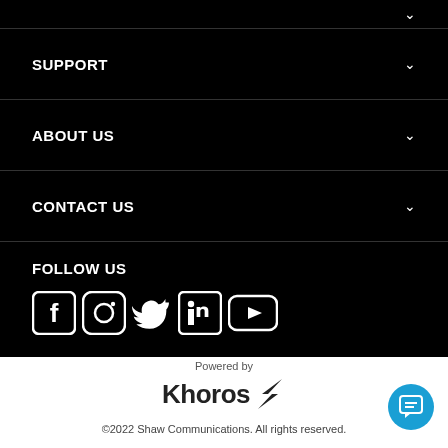SUPPORT
ABOUT US
CONTACT US
FOLLOW US
[Figure (illustration): Social media icons: Facebook, Instagram, Twitter, LinkedIn, YouTube]
Powered by
[Figure (logo): Khoros logo with stylized bird/chevron icon]
©2022 Shaw Communications. All rights reserved.